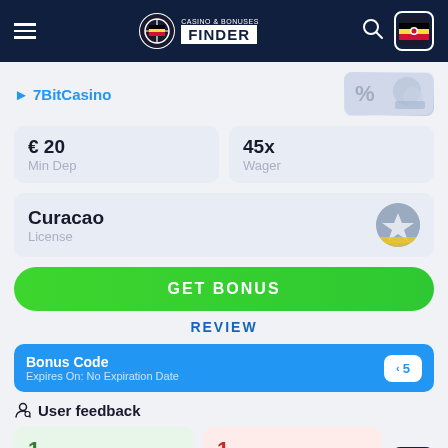Casino & Bonuses Finder
7BitCasino
| Min Dep | Wager |
| --- | --- |
| € 20 | 45x |
Curacao
License
GET BONUS
REVIEW
Bonus Code
Expires On: No Expiration Date
User feedback
1
GOOD
1
BAD